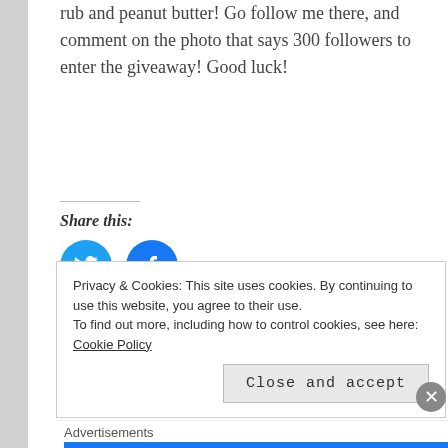rub and peanut butter! Go follow me there, and comment on the photo that says 300 followers to enter the giveaway! Good luck!
Share this:
[Figure (other): Twitter and Facebook share icon buttons (blue circles with bird and f logos)]
Privacy & Cookies: This site uses cookies. By continuing to use this website, you agree to their use. To find out more, including how to control cookies, see here: Cookie Policy
Close and accept
Advertisements